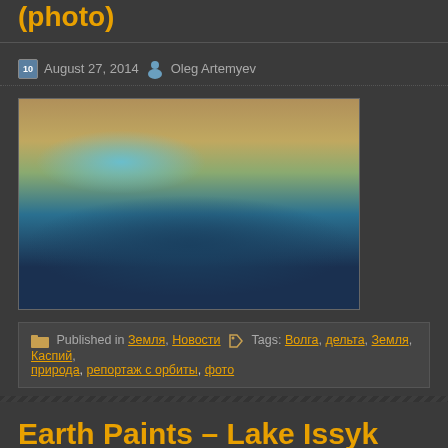(photo)
August 27, 2014   Oleg Artemyev
[Figure (photo): Aerial/satellite photo of Volga delta and Caspian Sea from orbit]
Published in Земля, Новости  Tags: Волга, дельта, Земля, Каспий, природа, репортаж с орбиты, фото
Earth Paints – Lake Issyk Kul in the Kyrgyzstan (photo)
August 27, 2014   Oleg Artemyev
[Figure (photo): Satellite photo of Lake Issyk Kul in Kyrgyzstan from orbit, showing snowy mountains]